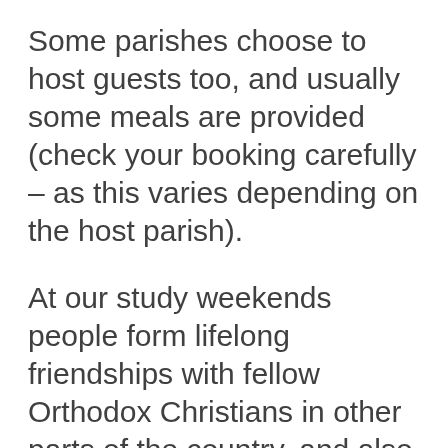Some parishes choose to host guests too, and usually some meals are provided (check your booking carefully – as this varies depending on the host parish).
At our study weekends people form lifelong friendships with fellow Orthodox Christians in other parts of the country, and also come away with their spiritual batteries recharged.